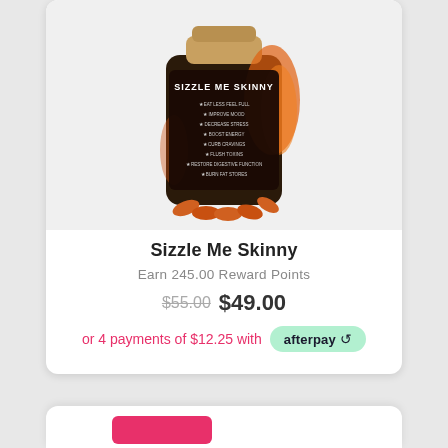[Figure (photo): A bottle of 'Sizzle Me Skinny' dietary supplement capsules with orange capsules visible, featuring a dark label with fire graphic and bullet points listing benefits]
Sizzle Me Skinny
Earn 245.00 Reward Points
$55.00 $49.00
or 4 payments of $12.25 with afterpay